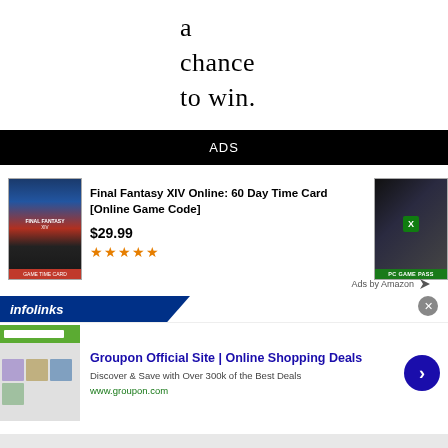a chance to win.
ADS
[Figure (screenshot): Amazon ad showing Final Fantasy XIV Online: 60 Day Time Card [Online Game Code] at $29.99 with 5 stars, and a PC Game Pass image on the right]
Ads by Amazon
[Figure (screenshot): Infolinks ad banner with Groupon Official Site | Online Shopping Deals advertisement, showing 'Discover & Save with Over 300k of the Best Deals' and www.groupon.com]